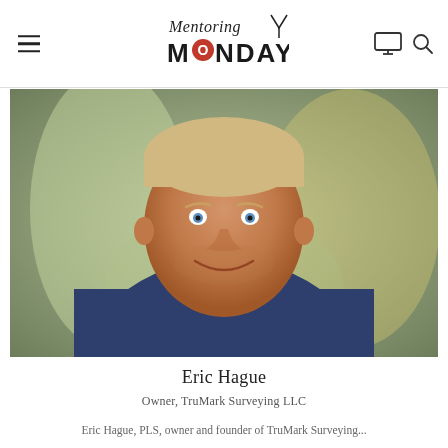Mentoring Mondays
[Figure (photo): Professional headshot of Eric Hague, a middle-aged man with short light hair and blue eyes, smiling, wearing a navy blue long-sleeve shirt, with a blurred outdoor background.]
Eric Hague
Owner, TruMark Surveying LLC
Eric Hague, PLS, owner and founder of TruMark Surveying...